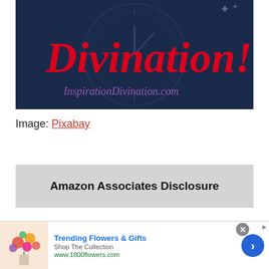[Figure (illustration): Banner image with dark blue/navy background showing a sundial or clock, with large red script text 'Divination!' and purple italic text 'InspirationDivination.com']
Image: Pixabay
Amazon Associates Disclosure
[Figure (photo): Advertisement banner: colorful flower bouquet image on left, 'Trending Flowers & Gifts' headline, 'Shop The Collection', 'www.1800flowers.com', blue circular arrow button on right, close X button at top right]